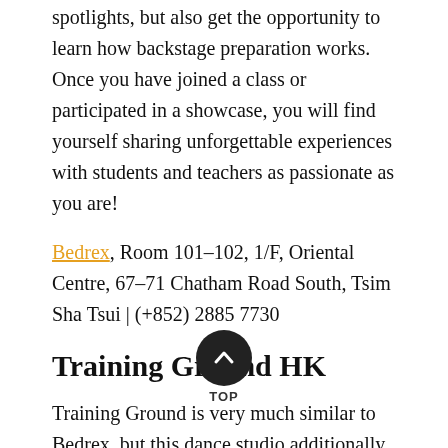spotlights, but also get the opportunity to learn how backstage preparation works. Once you have joined a class or participated in a showcase, you will find yourself sharing unforgettable experiences with students and teachers as passionate as you are!
Bedrex, Room 101–102, 1/F, Oriental Centre, 67–71 Chatham Road South, Tsim Sha Tsui | (+852) 2885 7730
Training Ground HK
Training Ground is very much similar to Bedrex, but this dance studio additionally offers some unique classes like heels foundation and body development. Also, if you are looking for more beginner-level classes, Training Ground has them